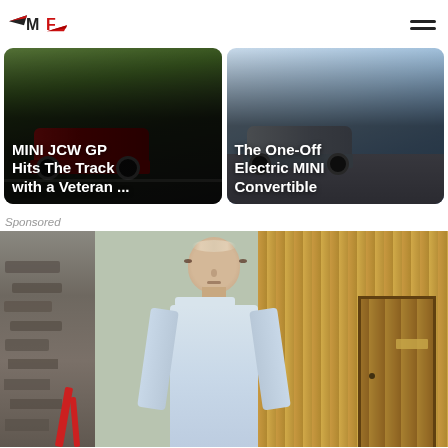MF logo and hamburger menu
[Figure (photo): MINI JCW GP car on race track — card thumbnail with overlay text: MINI JCW GP Hits The Track with a Veteran ...]
[Figure (photo): Electric MINI Convertible on road — card thumbnail with overlay text: The One-Off Electric MINI Convertible]
Sponsored
[Figure (photo): Sponsored content photo: middle-aged bald man in light blue shirt standing in front of wooden wall and stone wall]